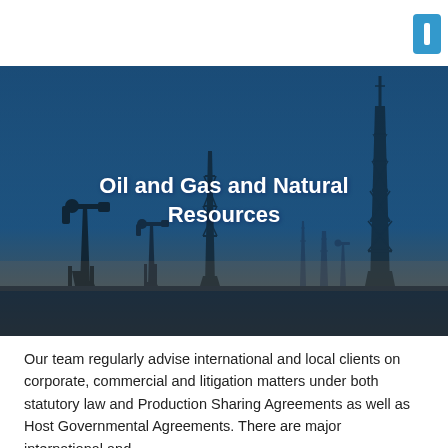[Figure (photo): Oil field silhouette photo with pump jacks and derricks against a blue-to-amber gradient sky, used as a hero banner image.]
Oil and Gas and Natural Resources
Our team regularly advise international and local clients on corporate, commercial and litigation matters under both statutory law and Production Sharing Agreements as well as Host Governmental Agreements. There are major international and